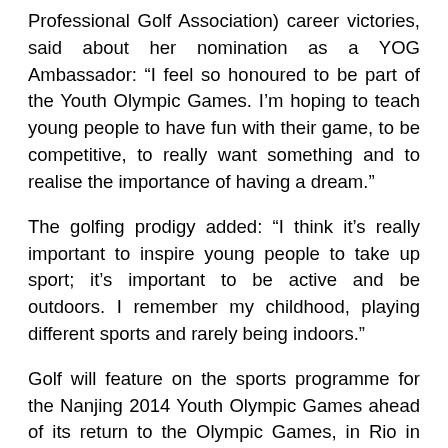Professional Golf Association) career victories, said about her nomination as a YOG Ambassador: “I feel so honoured to be part of the Youth Olympic Games. I’m hoping to teach young people to have fun with their game, to be competitive, to really want something and to realise the importance of having a dream.”
The golfing prodigy added: “I think it’s really important to inspire young people to take up sport; it’s important to be active and be outdoors. I remember my childhood, playing different sports and rarely being indoors.”
Golf will feature on the sports programme for the Nanjing 2014 Youth Olympic Games ahead of its return to the Olympic Games, in Rio in 2016, after more than a century. Michelle was a key member of the delegation that travelled to the IOC Session in Copenhagen in 2009 to successfully bid for the re-inclusion of golf.